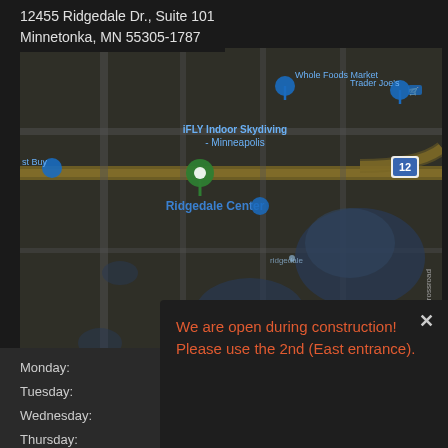12455 Ridgedale Dr., Suite 101
Minnetonka, MN 55305-1787
[Figure (map): Google Maps screenshot showing Ridgedale Center area in Minnetonka, MN with markers for Whole Foods Market, Trader Joe's, iFLY Indoor Skydiving Minneapolis, Best Buy, Ridgedale Center, and Hopkins High. Route 12 visible. Dark overlay on map.]
Monday:
Tuesday:
Wednesday:
Thursday:
We are open during construction! Please use the 2nd (East entrance).